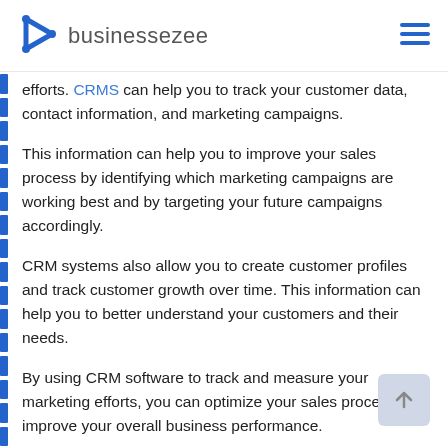businessezee
efforts. CRMS can help you to track your customer data, contact information, and marketing campaigns.
This information can help you to improve your sales process by identifying which marketing campaigns are working best and by targeting your future campaigns accordingly.
CRM systems also allow you to create customer profiles and track customer growth over time. This information can help you to better understand your customers and their needs.
By using CRM software to track and measure your marketing efforts, you can optimize your sales process and improve your overall business performance.